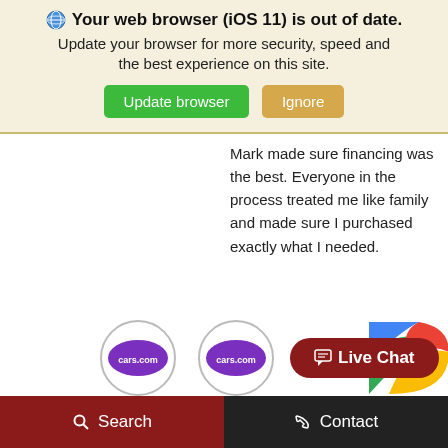🌐 Your web browser (iOS 11) is out of date. Update your browser for more security, speed and the best experience on this site.
[Figure (screenshot): Browser update notification banner with 'Update browser' green button and 'Ignore' tan button]
Mark made sure financing was the best. Everyone in the process treated me like family and made sure I purchased exactly what I needed.
[Figure (logo): Two cars.com logos in circles and a Google logo partially visible, with a Live Chat button]
Search   Contact